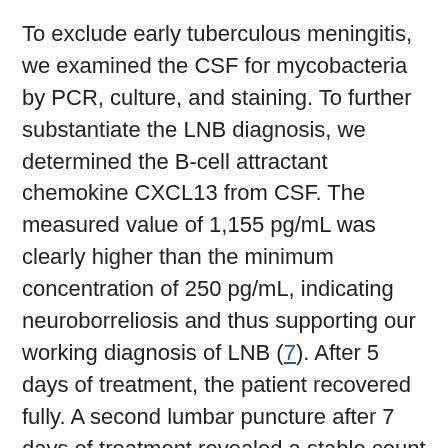To exclude early tuberculous meningitis, we examined the CSF for mycobacteria by PCR, culture, and staining. To further substantiate the LNB diagnosis, we determined the B-cell attractant chemokine CXCL13 from CSF. The measured value of 1,155 pg/mL was clearly higher than the minimum concentration of 250 pg/mL, indicating neuroborreliosis and thus supporting our working diagnosis of LNB (7). After 5 days of treatment, the patient recovered fully. A second lumbar puncture after 7 days of treatment revealed a stable count of 76 monomorphic lymphocytes/μL. In addition, protein, Qalb, and CXCL13 had decreased (Table). However, we remained unable to detect B. burgdorferi–specific antibodies in serum or CSF, and B. burgdorferi–specific PCR of the first CSF specimen showed no amplification product.